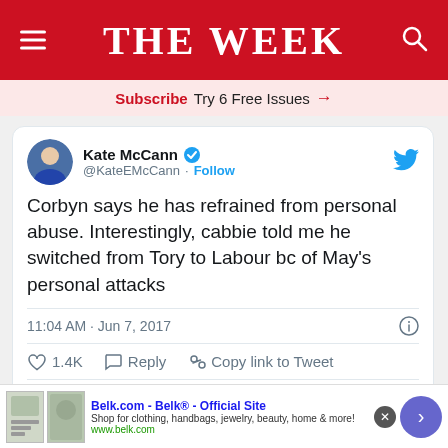THE WEEK
Subscribe  Try 6 Free Issues →
[Figure (screenshot): Embedded tweet from Kate McCann (@KateEMcCann) with verified badge. Tweet text: 'Corbyn says he has refrained from personal abuse. Interestingly, cabbie told me he switched from Tory to Labour bc of May's personal attacks'. Posted 11:04 AM · Jun 7, 2017. 1.4K likes. Actions: Reply, Copy link to Tweet. Read 48 replies.]
Belk.com - Belk® - Official Site
Shop for clothing, handbags, jewelry, beauty, home & more!
www.belk.com